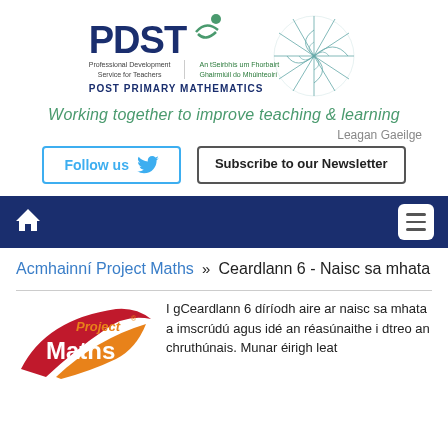[Figure (logo): PDST logo with spiral graphic and POST PRIMARY MATHEMATICS text]
Working together to improve teaching & learning
Leagan Gaeilge
Follow us
Subscribe to our Newsletter
[Figure (other): Navigation bar with home icon and hamburger menu]
Acmhainní Project Maths » Ceardlann 6 - Naisc sa mhata
[Figure (logo): Project Maths logo in red and orange]
I gCeardlann 6 díríodh aire ar naisc sa mhata a imscrúdú agus idé an réasúnaithe i dtreo an chruthúnais. Munar éirigh leat